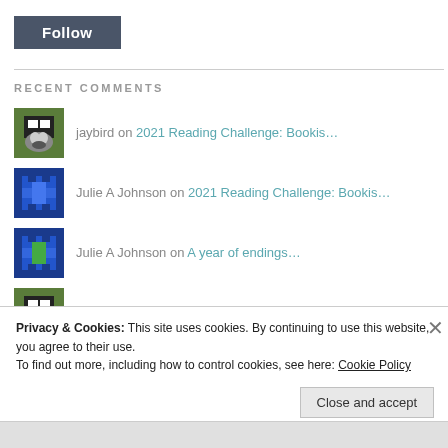[Figure (other): Follow button - dark gray button with white text 'Follow']
RECENT COMMENTS
jaybird on 2021 Reading Challenge: Bookis…
Julie A Johnson on 2021 Reading Challenge: Bookis…
Julie A Johnson on A year of endings…
jaybird on A year of endings…
Rach on A year of endings…
Privacy & Cookies: This site uses cookies. By continuing to use this website, you agree to their use.
To find out more, including how to control cookies, see here: Cookie Policy
Close and accept